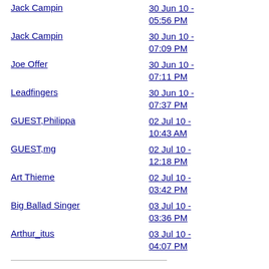Jack Campin | 30 Jun 10 - 05:56 PM
Jack Campin | 30 Jun 10 - 07:09 PM
Joe Offer | 30 Jun 10 - 07:11 PM
Leadfingers | 30 Jun 10 - 07:37 PM
GUEST,Philippa | 02 Jul 10 - 10:43 AM
GUEST,mg | 02 Jul 10 - 12:18 PM
Art Thieme | 02 Jul 10 - 03:42 PM
Big Ballad Singer | 03 Jul 10 - 03:36 PM
Arthur_itus | 03 Jul 10 - 04:07 PM
Subject: Folk songs of Poland?
From: GUEST,Big Ballad Singer on a friend's PC
Date: 30 Jun 10 - 05:16 PM